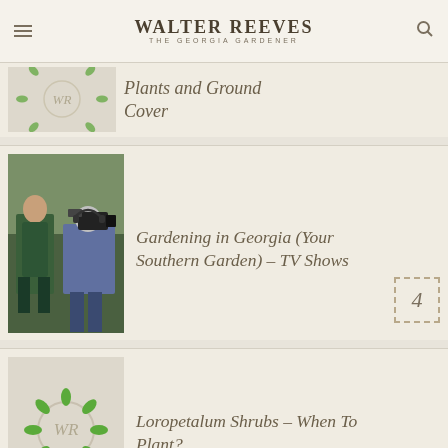WALTER REEVES THE GEORGIA GARDENER
Plants and Ground Cover
[Figure (photo): Man being filmed outdoors near tall shrub hedge by a cameraman with a video camera]
Gardening in Georgia (Your Southern Garden) – TV Shows
[Figure (logo): WR logo with green leaves circle on beige background]
Loropetalum Shrubs – When To Plant?